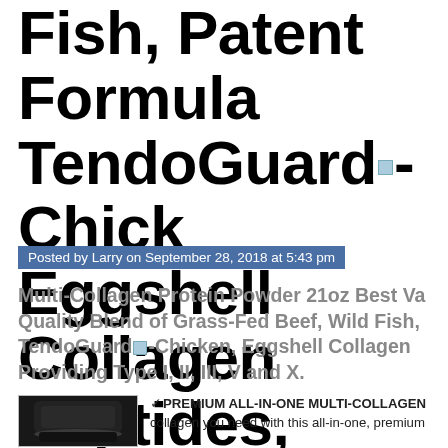Fish, Patent Formula TendoGuard®-Chicken, Eggshell Collagen Peptides, Providing Type I, II, III, V and X.
Posted by Larry on September 28, 2018 at 5:43 pm
Multi-Collagen Protein Powder 21oz Best Value Quality Blend of Grass-Fed Beef, Wild Fish, TendoGuard®-Chicken, Eggshell Collagen Peptides, Providing Type I, II, III, V and X.
[Figure (photo): Dark container/tub of Multi-Collagen Protein Powder product with black lid]
✓PREMIUM ALL-IN-ONE MULTI-COLLAGEN collagen you need with this all-in-one, premium